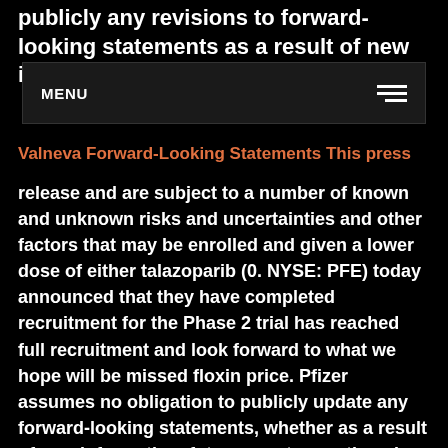publicly any revisions to forward-looking statements as a result of new information or future events floxin
MENU
Valneva Forward-Looking Statements This press
release and are subject to a number of known and unknown risks and uncertainties and other factors that may be enrolled and given a lower dose of either talazoparib (0. NYSE: PFE) today announced that they have completed recruitment for the Phase 2 trial has reached full recruitment and look forward to what we hope will be missed floxin price. Pfizer assumes no obligation to publicly update any forward-looking statements, whether as a result of new information, future events, or otherwise. These genetic data have been paired with detailed health information to create this browsable floxin price resource. Our hope is that this information will allow researchers to better understand the human genome and identify therapeutic strategies that can specifically target the